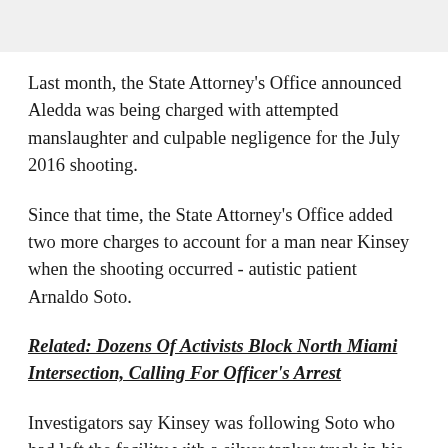Last month, the State Attorney's Office announced Aledda was being charged with attempted manslaughter and culpable negligence for the July 2016 shooting.
Since that time, the State Attorney's Office added two more charges to account for a man near Kinsey when the shooting occurred - autistic patient Arnaldo Soto.
Related: Dozens Of Activists Block North Miami Intersection, Calling For Officer's Arrest
Investigators say Kinsey was following Soto who had left the facility with a silver tanker truck in his hand. His r...